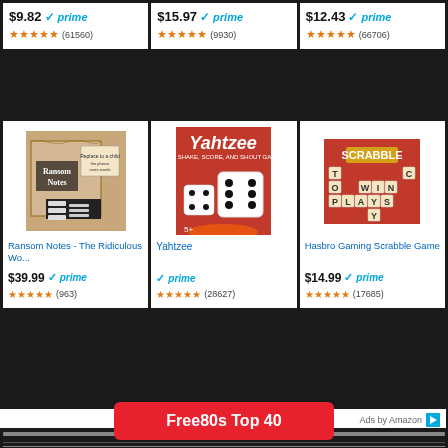[Figure (screenshot): Amazon product ad grid showing 6 board game products with prices, prime badges, star ratings and review counts. Bottom shows Ads by Amazon footer, separator lines, and a red Free80s Top 40 button.]
$9.82 prime (61560)
$15.97 prime (9930)
$12.43 prime (66706)
Ransom Notes - The Ridiculous Wo...
$39.99 prime (963)
Yahtzee
prime (28627)
Hasbro Gaming Scrabble Game
$14.99 prime (17685)
Ads by Amazon
Free80s Top 40